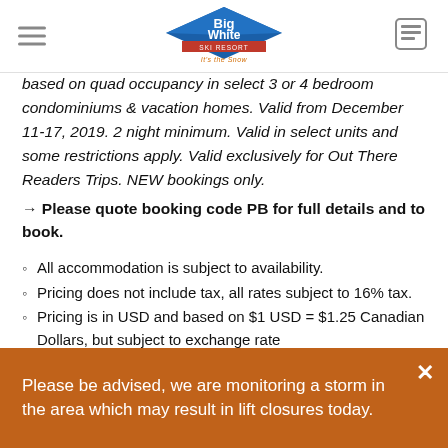Big White Ski Resort - It's the Snow
based on quad occupancy in select 3 or 4 bedroom condominiums & vacation homes. Valid from December 11-17, 2019. 2 night minimum. Valid in select units and some restrictions apply. Valid exclusively for Out There Readers Trips. NEW bookings only.
→ Please quote booking code PB for full details and to book.
All accommodation is subject to availability.
Pricing does not include tax, all rates subject to 16% tax.
Pricing is in USD and based on $1 USD = $1.25 Canadian Dollars, but subject to exchange rate
Please be advised, we are monitoring a storm in the area which may result in lift closures today.